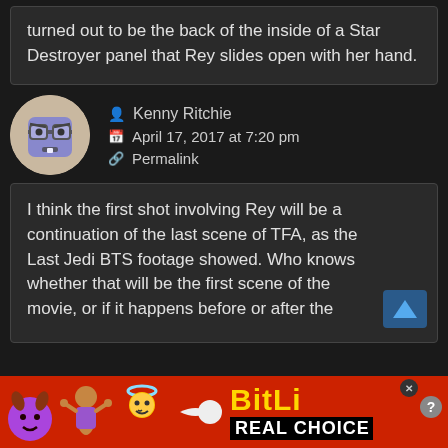turned out to be the back of the inside of a Star Destroyer panel that Rey slides open with her hand.
Kenny Ritchie
April 17, 2017 at 7:20 pm
Permalink
[Figure (illustration): Cartoon avatar of an angry blue cube-shaped face character with glasses, inside a circular frame with beige/tan background]
I think the first shot involving Rey will be a continuation of the last scene of TFA, as the Last Jedi BTS footage showed. Who knows whether that will be the first scene of the movie, or if it happens before or after the
[Figure (infographic): Advertisement banner with red background showing emojis (devil, woman shrugging, angel, sperm) and text BitLi and REAL CHOICE]